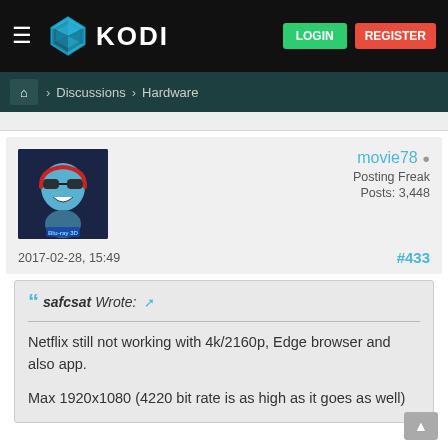KODI — LOGIN REGISTER
Home > Discussions > Hardware
[Figure (photo): Avatar image of user movie78 — stylized cartoon character with sunglasses and Blu-ray 3D logo, dark blue background]
movie78
Posting Freak
Posts: 3,448
2017-02-28, 15:49
#433
safcsat Wrote:
Netflix still not working with 4k/2160p, Edge browser and also app.

Max 1920x1080 (4220 bit rate is as high as it goes as well)